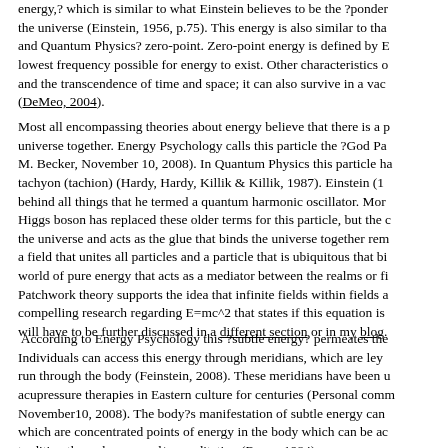energy,? which is similar to what Einstein believes to be the ?ponder the universe (Einstein, 1956, p.75). This energy is also similar to tha and Quantum Physics? zero-point. Zero-point energy is defined by E lowest frequency possible for energy to exist. Other characteristics o and the transcendence of time and space; it can also survive in a vac (DeMeo, 2004).
Most all encompassing theories about energy believe that there is a p universe together. Energy Psychology calls this particle the ?God Pa M. Becker, November 10, 2008). In Quantum Physics this particle ha tachyon (tachion) (Hardy, Hardy, Killik & Killik, 1987). Einstein (1 behind all things that he termed a quantum harmonic oscillator. Mor Higgs boson has replaced these older terms for this particle, but the the universe and acts as the glue that binds the universe together rem a field that unites all particles and a particle that is ubiquitous that bi world of pure energy that acts as a mediator between the realms or fi Patchwork theory supports the idea that infinite fields within fields a compelling research regarding E=mc^2 that states if this equation is will have to be further discussed in a different section or in my blog.
According to Energy Psychology this ?subtle energy? permeates the Individuals can access this energy through meridians, which are ley run through the body (Feinstein, 2008). These meridians have been u acupressure therapies in Eastern culture for centuries (Personal comm November10, 2008). The body?s manifestation of subtle energy can which are concentrated points of energy in the body which can be ac tradition through yoga and/or meditation (Rama, 1984).